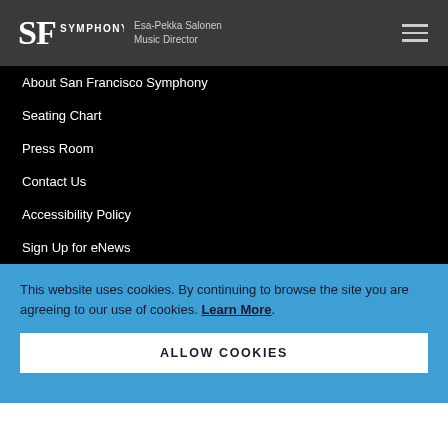SF Symphony — Esa-Pekka Salonen Music Director
About San Francisco Symphony
Seating Chart
Press Room
Contact Us
Accessibility Policy
Sign Up for eNews
This website uses cookies. By continuing to browse the site you are agreeing to our use of cookies. Learn More.
ALLOW COOKIES